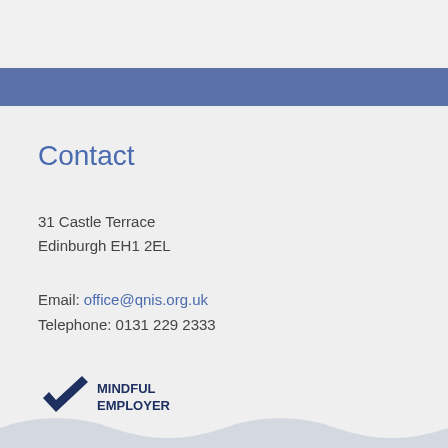Contact
31 Castle Terrace
Edinburgh EH1 2EL
Email: office@qnis.org.uk
Telephone: 0131 229 2333
[Figure (logo): Mindful Employer logo with blue checkmark and text MINDFUL EMPLOYER]